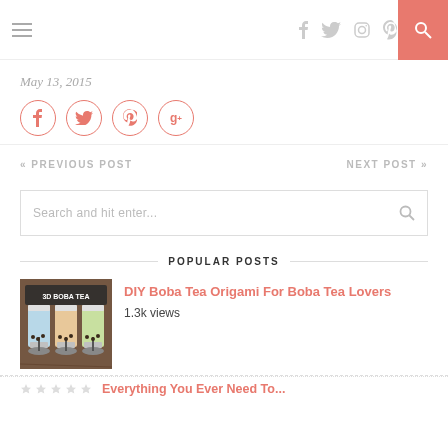Navigation header with hamburger menu, social icons (facebook, twitter, instagram, pinterest, cart), and search button
May 13, 2015
Social share buttons: facebook, twitter, pinterest, google+
« PREVIOUS POST   NEXT POST »
Search and hit enter...
POPULAR POSTS
[Figure (photo): Thumbnail image showing 3D Boba Tea cups on a wooden surface]
DIY Boba Tea Origami For Boba Tea Lovers
1.3k views
Everything You Ever Need To...